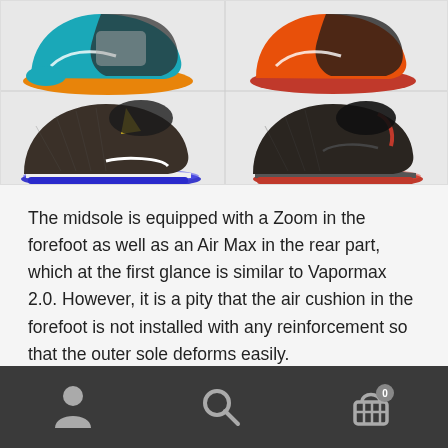[Figure (photo): Four Nike LeBron 19 basketball shoes arranged in a 2x2 grid. Top left: shoe with teal/blue upper and orange sole. Top right: shoe with orange/red upper and red sole. Bottom left: shoe with dark woven upper, yellow accent, and blue Air Max sole. Bottom right: shoe with dark/black upper with red accents and red Air Max sole.]
The midsole is equipped with a Zoom in the forefoot as well as an Air Max in the rear part, which at the first glance is similar to Vapormax 2.0. However, it is a pity that the air cushion in the forefoot is not installed with any reinforcement so that the outer sole deforms easily.
Navigation bar with user icon, search icon, and shopping cart icon with badge showing 0